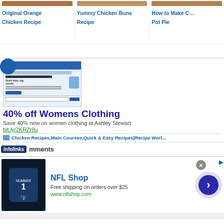Original Orange Chicken Recipe
Yummy Chicken Buns Recipe
How to Make Chicken Pot Pie
[Figure (screenshot): Screenshot of a website showing 'Short links, big results' with a URL input bar]
40% off Womens Clothing
Save 40% now on women clothing at Ashley Stewart
bit.ly/2KRZr8u
Chicken Recipes, Main Courses, Quick & Easy Recipes | Recipe Worl…
infolinks  mments
[Figure (photo): NFL Shop advertisement with football jersey image]
NFL Shop
Free shipping on orders over $25
www.nflshop.com